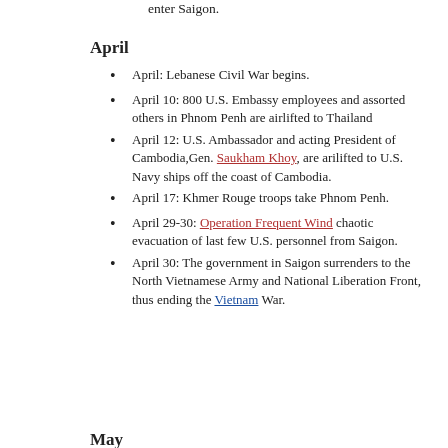enter Saigon.
April
April: Lebanese Civil War begins.
April 10: 800 U.S. Embassy employees and assorted others in Phnom Penh are airlifted to Thailand
April 12: U.S. Ambassador and acting President of Cambodia,Gen. Saukham Khoy, are arilifted to U.S. Navy ships off the coast of Cambodia.
April 17: Khmer Rouge troops take Phnom Penh.
April 29-30: Operation Frequent Wind chaotic evacuation of last few U.S. personnel from Saigon.
April 30: The government in Saigon surrenders to the North Vietnamese Army and National Liberation Front, thus ending the Vietnam War.
May